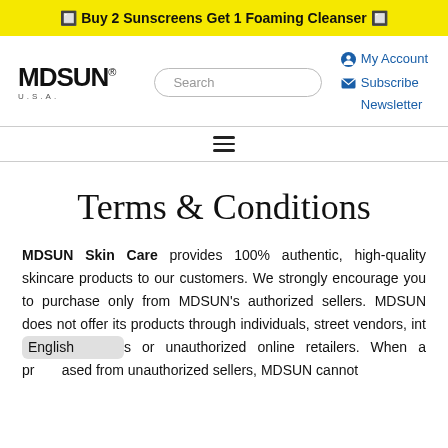🔲 Buy 2 Sunscreens Get 1 Foaming Cleanser 🔲
[Figure (logo): MDSUN U.S.A. logo in black bold text]
Search
My Account  Subscribe Newsletter
Terms & Conditions
MDSUN Skin Care provides 100% authentic, high-quality skincare products to our customers. We strongly encourage you to purchase only from MDSUN's authorized sellers. MDSUN does not offer its products through individuals, street vendors, int... s or unauthorized online retailers. When a pr... ased from unauthorized sellers, MDSUN cannot
English